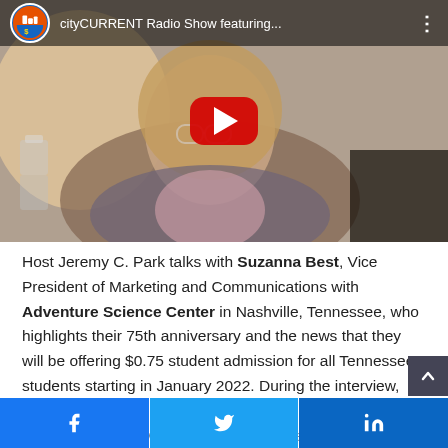[Figure (screenshot): YouTube video thumbnail showing a woman with blonde hair and pink glasses, wearing a plaid blazer. The video is titled 'cityCURRENT Radio Show featuring…' with a red YouTube play button overlay and the cityCURRENT logo in the top-left corner.]
Host Jeremy C. Park talks with Suzanna Best, Vice President of Marketing and Communications with Adventure Science Center in Nashville, Tennessee, who highlights their 75th anniversary and the news that they will be offering $0.75 student admission for all Tennessee students starting in January 2022. During the interview, Suzanna talks about the mission to open every mind to the wonders of science and